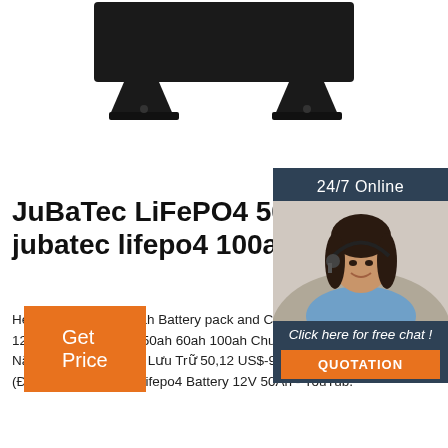[Figure (photo): Black monitor/speaker stand product image at the top of the page, showing two stands with feet]
[Figure (photo): 24/7 Online sidebar with customer service agent (woman with headset), chat invitation and quotation button]
JuBaTec LiFePO4 50Ah — jubatec lifepo4 100ah zu
Headway LifePO4 50ah Battery pack and C YouTub. LiFePO4 Pin 12V 24V 36V 48V 20 50ah 60ah 100ah Chu Kỳ Sâu Lithium Ion P Năng Lượng Mặt Trời Lưu Trữ 50,12 US$-9 US$ Cái 1.0 Cái (Đơn hàng tối thiểu. Lifepo4 Battery 12V 50Ah - YouTub.
Get Price